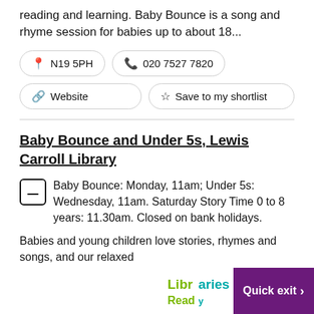reading and learning. Baby Bounce is a song and rhyme session for babies up to about 18...
N19 5PH
020 7527 7820
Website
Save to my shortlist
Baby Bounce and Under 5s, Lewis Carroll Library
Baby Bounce: Monday, 11am; Under 5s: Wednesday, 11am. Saturday Story Time 0 to 8 years: 11.30am. Closed on bank holidays.
Babies and young children love stories, rhymes and songs, and our relaxed
[Figure (logo): Libraries Ready to Read logo and Quick Exit button]